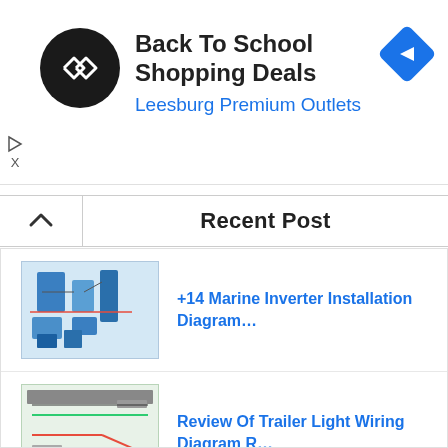[Figure (infographic): Advertisement banner: Back To School Shopping Deals at Leesburg Premium Outlets with circular logo and navigation arrow icon]
Recent Post
[Figure (screenshot): Thumbnail of Marine Inverter Installation Diagram — blue electrical components diagram]
+14 Marine Inverter Installation Diagram…
[Figure (screenshot): Thumbnail of Trailer Light Wiring Diagram — green and red wiring diagram]
Review Of Trailer Light Wiring Diagram R…
[Figure (photo): Thumbnail for Amazing Cruise Gifts — tropical flower and book image]
Amazing Cruise Gifts For Friends Referen…